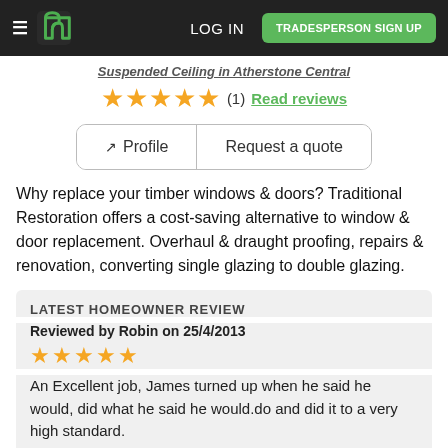LOG IN | TRADESPERSON SIGN UP
Suspended Ceiling in Atherstone Central
★★★★★ (1) Read reviews
Profile | Request a quote
Why replace your timber windows & doors? Traditional Restoration offers a cost-saving alternative to window & door replacement. Overhaul & draught proofing, repairs & renovation, converting single glazing to double glazing.
LATEST HOMEOWNER REVIEW
Reviewed by Robin on 25/4/2013
★★★★★
An Excellent job, James turned up when he said he would, did what he said he would.do and did it to a very high standard.
[Figure (photo): Partial view of a profile photo at the bottom of the page]